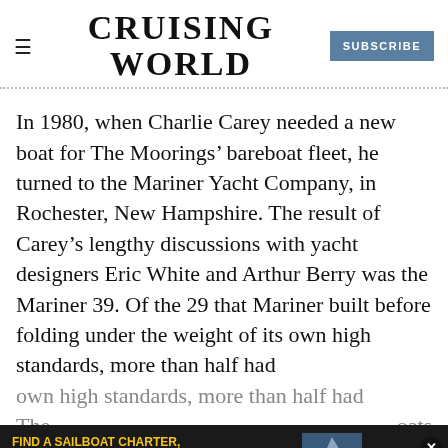CRUISING WORLD | SUBSCRIBE
In 1980, when Charlie Carey needed a new boat for The Moorings’ bareboat fleet, he turned to the Mariner Yacht Company, in Rochester, New Hampshire. The result of Carey’s lengthy discussions with yacht designers Eric White and Arthur Berry was the Mariner 39. Of the 29 that Mariner built before folding under the weight of its own high standards, more than half had
The [obscured by ad] oats had [obscured] inboard shrouds (but another
[Figure (screenshot): Advertisement banner: FIND A SAILBOAT CHARTER, CHARTER COMPANY OR LEARN HOW TO START YOUR OWN with Cruising World logo and sailboat image]